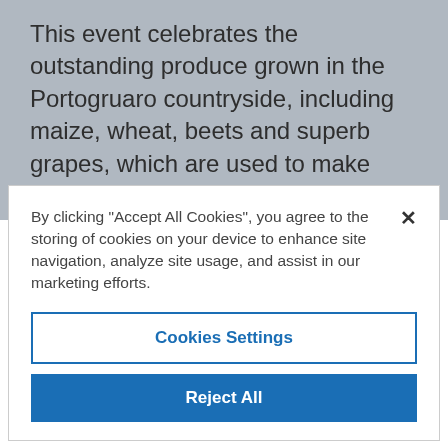This event celebrates the outstanding produce grown in the Portogruaro countryside, including maize, wheat, beets and superb grapes, which are used to make exceptional wine. This is one of the most popular festivals among young people in the Province of Venice, thanks to the big part played by local associations and the food and
By clicking "Accept All Cookies", you agree to the storing of cookies on your device to enhance site navigation, analyze site usage, and assist in our marketing efforts.
Cookies Settings
Reject All